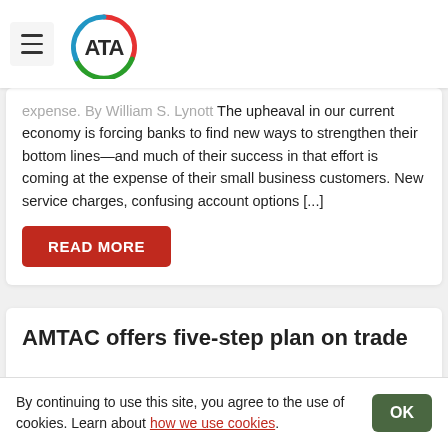ATA (logo)
expense. By William S. Lynott The upheaval in our current economy is forcing banks to find new ways to strengthen their bottom lines—and much of their success in that effort is coming at the expense of their small business customers. New service charges, confusing account options [...]
READ MORE
AMTAC offers five-step plan on trade
By continuing to use this site, you agree to the use of cookies. Learn about how we use cookies.